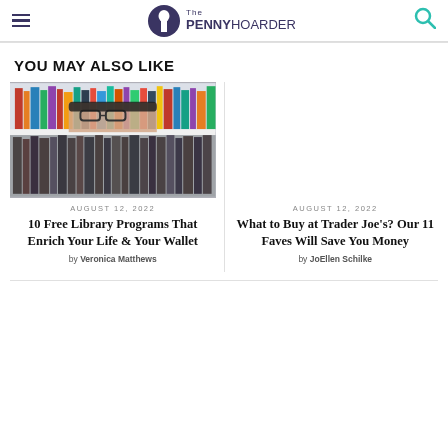The PENNY HOARDER
YOU MAY ALSO LIKE
[Figure (photo): Person peering over a row of library books on a shelf, wearing glasses]
AUGUST 12, 2022
10 Free Library Programs That Enrich Your Life & Your Wallet
by Veronica Matthews
AUGUST 12, 2022
What to Buy at Trader Joe's? Our 11 Faves Will Save You Money
by JoEllen Schilke